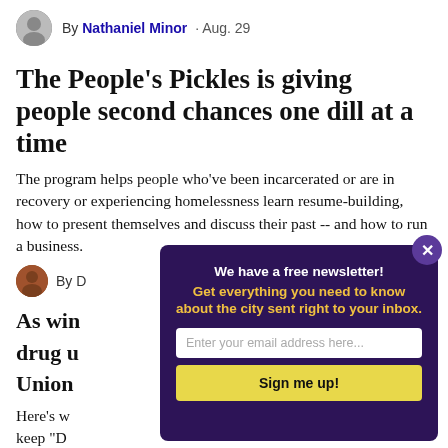By Nathaniel Minor · Aug. 29
The People's Pickles is giving people second chances one dill at a time
The program helps people who've been incarcerated or are in recovery or experiencing homelessness learn resume-building, how to present themselves and discuss their past -- and how to run a business.
By D
As win drug u Union
Here's w keep "D compas
[Figure (infographic): Newsletter signup overlay on dark purple background with text 'We have a free newsletter! Get everything you need to know about the city sent right to your inbox.' with email input and Sign me up button]